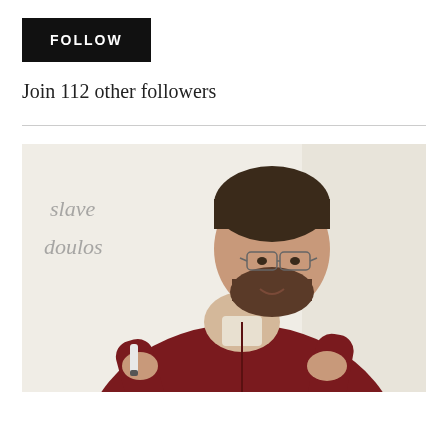FOLLOW
Join 112 other followers
[Figure (photo): A man with a beard and glasses wearing a dark red/maroon zip-up fleece, standing in front of a whiteboard that has handwritten text reading 'slave' and 'doulos', holding a marker and gesturing with both hands as if teaching or presenting.]